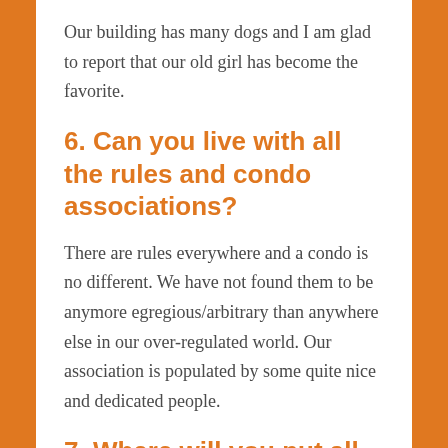Our building has many dogs and I am glad to report that our old girl has become the favorite.
6. Can you live with all the rules and condo associations?
There are rules everywhere and a condo is no different. We have not found them to be anymore egregious/arbitrary than anywhere else in our over-regulated world. Our association is populated by some quite nice and dedicated people.
7. Where will you put all your